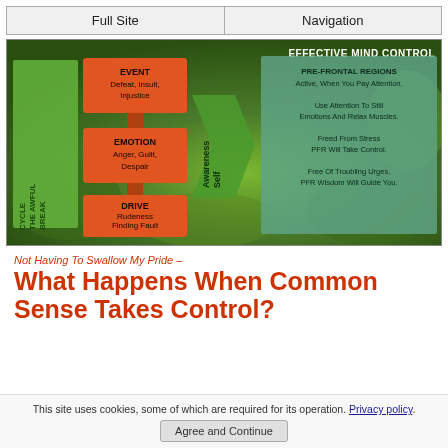Full Site | Navigation
[Figure (infographic): Infographic titled EFFECTIVE MIND CONTROL showing a cycle with three orange boxes (EVENT: Defeat, Insult, Injustice; EMOTION: Anger, Guilt, Despair; DRIVE: Rudeness, Finding Fault, Wanting To Die) connected vertically on left, a green left panel labeled BREAK THE AWFUL CYCLE, a Self Awareness arrow/chevron pointing right, and a teal right panel describing Pre-Frontal Regions benefits.]
Not Having To Swallow My Pride –
What Happens When Common Sense Takes Control?
This site uses cookies, some of which are required for its operation. Privacy policy.
Agree and Continue